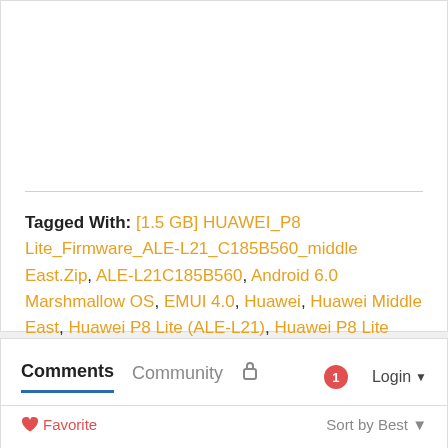Tagged With: [1.5 GB] HUAWEI_P8 Lite_Firmware_ALE-L21_C185B560_middle East.Zip, ALE-L21C185B560, Android 6.0 Marshmallow OS, EMUI 4.0, Huawei, Huawei Middle East, Huawei P8 Lite (ALE-L21), Huawei P8 Lite Marshmallow Update
Comments
Community
Login